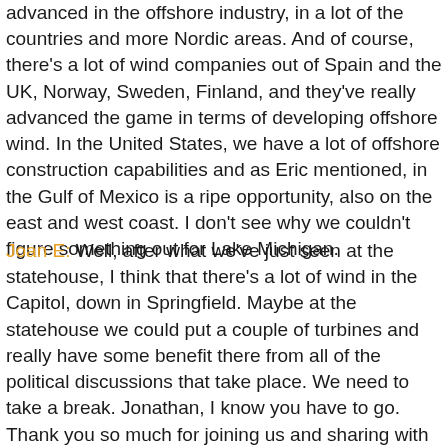advanced in the offshore industry, in a lot of the countries and more Nordic areas. And of course, there's a lot of wind companies out of Spain and the UK, Norway, Sweden, Finland, and they've really advanced the game in terms of developing offshore wind. In the United States, we have a lot of offshore construction capabilities and as Eric mentioned, in the Gulf of Mexico is a ripe opportunity, also on the east and west coast. I don't see why we couldn't figure something out for Lake Michigan.
Joan E: Well, after what we've just seen at the statehouse, I think that there's a lot of wind in the Capitol, down in Springfield. Maybe at the statehouse we could put a couple of turbines and really have some benefit there from all of the political discussions that take place. We need to take a break. Jonathan, I know you have to go. Thank you so much for joining us and sharing with us your thoughts on this. Jonathan Roberts, Vice President of Development for Soltage, and we'll be